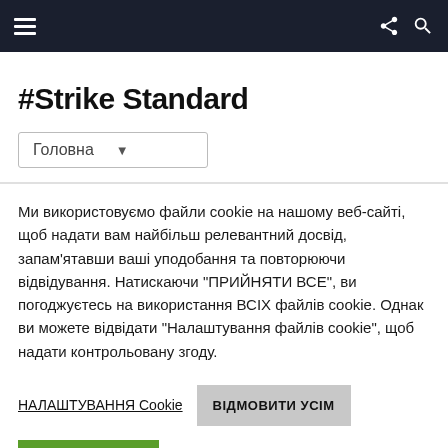≡  (share) (search)
#Strike Standard
Головна
Ми використовуємо файли cookie на нашому веб-сайті, щоб надати вам найбільш релевантний досвід, запам'ятавши ваші уподобання та повторюючи відвідування. Натискаючи "ПРИЙНЯТИ ВСЕ", ви погоджуєтесь на використання ВСІХ файлів cookie. Однак ви можете відвідати "Налаштування файлів cookie", щоб надати контрольовану згоду.
НАЛАШТУВАННЯ Cookie
ВІДМОВИТИ УСІМ
ПРИНЯТИ УСІ